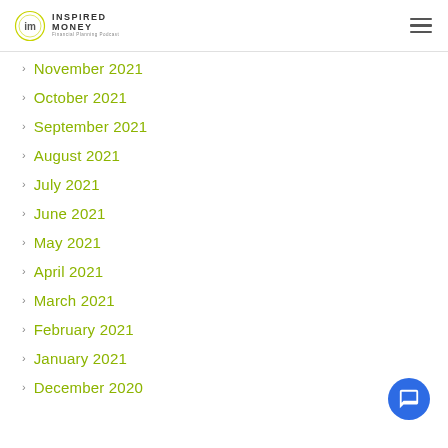Inspired Money
November 2021
October 2021
September 2021
August 2021
July 2021
June 2021
May 2021
April 2021
March 2021
February 2021
January 2021
December 2020